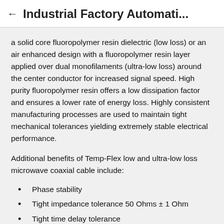← Industrial Factory Automati...
a solid core fluoropolymer resin dielectric (low loss) or an air enhanced design with a fluoropolymer resin layer applied over dual monofilaments (ultra-low loss) around the center conductor for increased signal speed. High purity fluoropolymer resin offers a low dissipation factor and ensures a lower rate of energy loss. Highly consistent manufacturing processes are used to maintain tight mechanical tolerances yielding extremely stable electrical performance.
Additional benefits of Temp-Flex low and ultra-low loss microwave coaxial cable include:
Phase stability
Tight impedance tolerance 50 Ohms ± 1 Ohm
Tight time delay tolerance